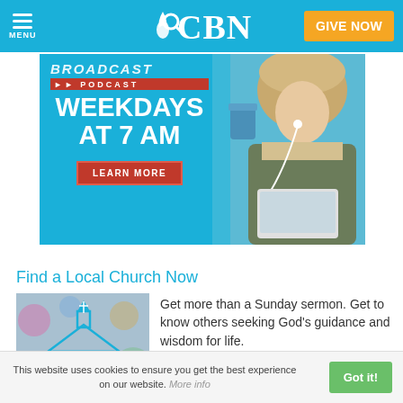CBN - MENU | Search | GIVE NOW
[Figure (infographic): CBN podcast advertisement banner: text 'WEEKDAYS AT 7 AM' with 'PODCAST' label, red bar, 'LEARN MORE' button on blue background left side; woman with earbuds and tablet on right side]
Find a Local Church Now
[Figure (illustration): Church icon illustration: cyan/teal line-art church with cross on steeple against blurred colorful bokeh background]
Get more than a Sunday sermon. Get to know others seeking God's guidance and wisdom for life.
This website uses cookies to ensure you get the best experience on our website. More info